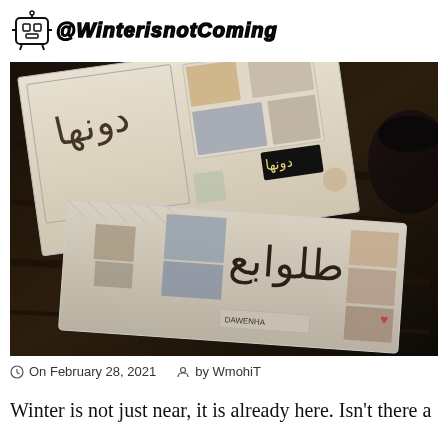@WinterisnotComing
[Figure (photo): Dark-toned overhead photo of decorative envelopes and letters with Arabic calligraphy, stamps, and illustrations, laid on a wooden surface next to a dark cup.]
On February 28, 2021   by WmohiT
Winter is not just near, it is already here. Isn't there a